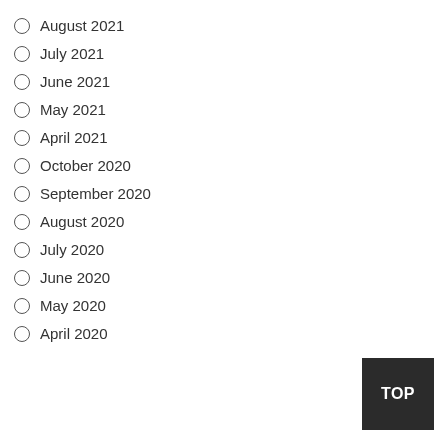August 2021
July 2021
June 2021
May 2021
April 2021
October 2020
September 2020
August 2020
July 2020
June 2020
May 2020
April 2020